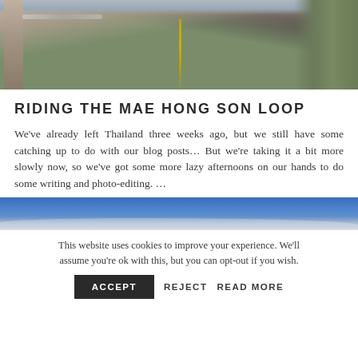[Figure (photo): A winding road with a yellow center line curving into the distance, flanked by a concrete barrier on the left and vegetation on the right, with a motorcycle visible far ahead.]
RIDING THE MAE HONG SON LOOP
We've already left Thailand three weeks ago, but we still have some catching up to do with our blog posts... But we're taking it a bit more slowly now, so we've got some more lazy afternoons on our hands to do some writing and photo-editing. ...
[Figure (photo): A wide blue sky with light clouds along the horizon, panoramic strip photo.]
This website uses cookies to improve your experience. We'll assume you're ok with this, but you can opt-out if you wish.
ACCEPT   REJECT   READ MORE